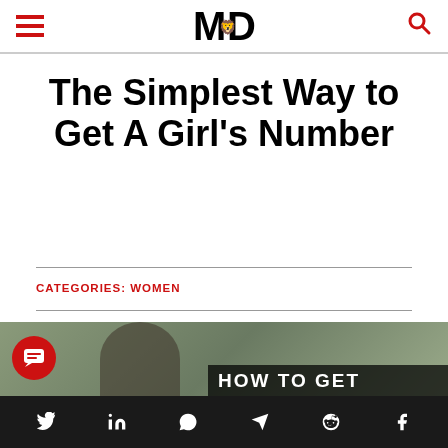MD (logo with lion)
The Simplest Way to Get A Girl's Number
CATEGORIES: WOMEN
[Figure (photo): Photo of a girl with a dark overlay banner reading 'HOW TO GET']
Social share icons: Twitter, LinkedIn, WhatsApp, Telegram, Reddit, Facebook